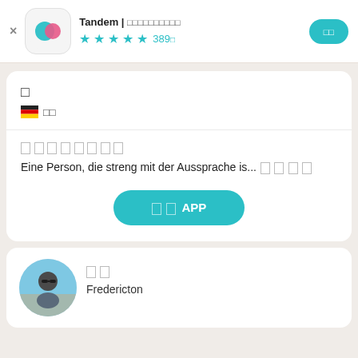Tandem | 언어교환 파트너 찾기  ★★★★☆ 389개
독일어  🇩🇪 원어민
말하고 싶은 주제
Eine Person, die streng mit der Aussprache is...더보기
앱 열기 APP
이름
Fredericton